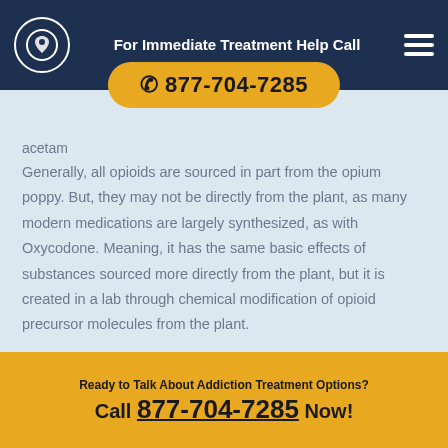For Immediate Treatment Help Call
✆ 877-704-7285
aceta...
Generally, all opioids are sourced in part from the opium poppy. But, they may not be directly from the plant, as many modern medications are largely synthesized, as with Oxycodone. Meaning, it has the same basic effects of substances sourced more directly from the plant, but it is created in a lab through chemical modification of opioid precursor molecules from the plant.
Ready to Talk About Addiction Treatment Options? Call 877-704-7285 Now!